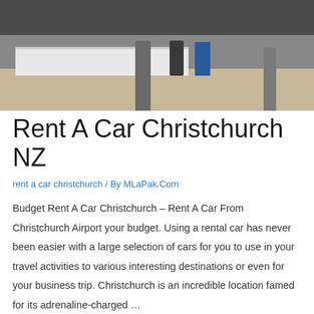[Figure (photo): Airport or car rental interior showing check-in counters, cylindrical columns, and people in background]
Rent A Car Christchurch NZ
rent a car christchurch / By MLaPak.Com
Budget Rent A Car Christchurch – Rent A Car From Christchurch Airport your budget. Using a rental car has never been easier with a large selection of cars for you to use in your travel activities to various interesting destinations or even for your business trip. Christchurch is an incredible location famed for its adrenaline-charged …
Read More »